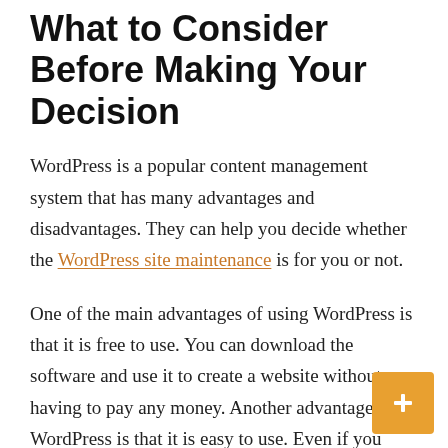What to Consider Before Making Your Decision
WordPress is a popular content management system that has many advantages and disadvantages. They can help you decide whether the WordPress site maintenance is for you or not.
One of the main advantages of using WordPress is that it is free to use. You can download the software and use it to create a website without having to pay any money. Another advantage of WordPress is that it is easy to use. Even if you have never created a website before, you will be able